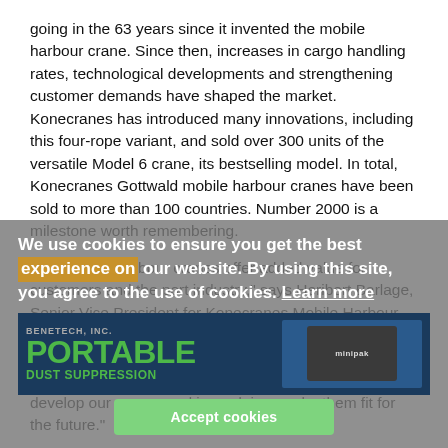going in the 63 years since it invented the mobile harbour crane. Since then, increases in cargo handling rates, technological developments and strengthening customer demands have shaped the market. Konecranes has introduced many innovations, including this four-rope variant, and sold over 300 units of the versatile Model 6 crane, its bestselling model. In total, Konecranes Gottwald mobile harbour cranes have been sold to more than 100 countries. Number 2000 is a milestone worth remembering.
“Our mobile harbour cranes offer added value for customers and the port industry,” says Heribert Barlage, Senior Vice President for Konecranes Mobile Harbour Cranes. “The 2000th crane is a sign of our commitment to both. But just like every other important milestone we reach, this one is also an incentive for us to constantly develop our cranes and in so doing, make them fit for the future.”
We use cookies to ensure you get the best experience on our website. By using this site, you agree to the use of cookies. Learn more
[Figure (photo): Advertisement banner for Benetech, Inc. Portable Dust Suppression with green text and an image of a minipak device on dark blue background]
Accept cookies